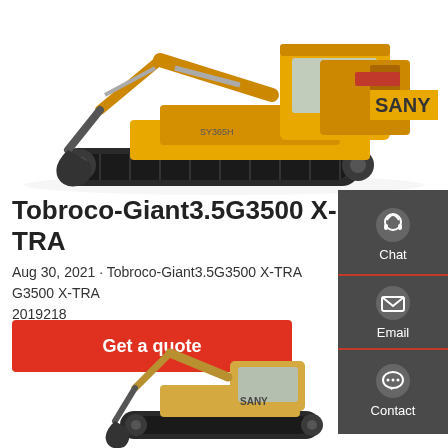[Figure (photo): Yellow SANY tracked excavator (model SY365H) on white background, side view showing boom, arm, bucket, and undercarriage]
Tobroco-Giant3.5G3500 X-TRA
Aug 30, 2021 · Tobroco-Giant3.5G3500 X-TRA G3500 X-TRA 2019218
Get a quote
[Figure (photo): Yellow-tan SANY mini excavator on white background, partially visible at bottom of page]